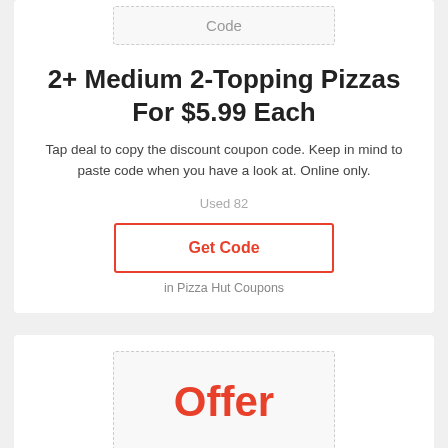Code
2+ Medium 2-Topping Pizzas For $5.99 Each
Tap deal to copy the discount coupon code. Keep in mind to paste code when you have a look at. Online only.
Used 82
Get Code
in Pizza Hut Coupons
Offer